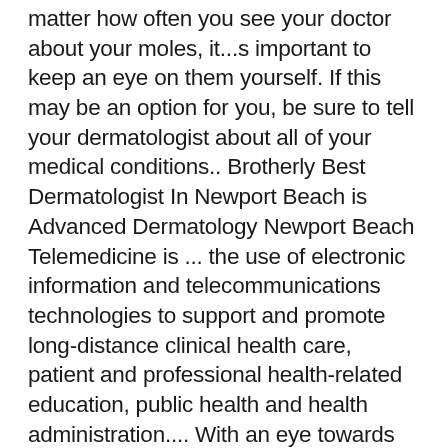matter how often you see your doctor about your moles, it...s important to keep an eye on them yourself. If this may be an option for you, be sure to tell your dermatologist about all of your medical conditions.. Brotherly Best Dermatologist In Newport Beach is Advanced Dermatology Newport Beach Telemedicine is ... the use of electronic information and telecommunications technologies to support and promote long-distance clinical health care, patient and professional health-related education, public health and health administration.... With an eye towards public safety, mitigating unnecessary exposure to potential disease carriers, and preservation of personal protective equipment, Medicare and Medicaid are encouraging a transition to telemedicine, and private insurers are following